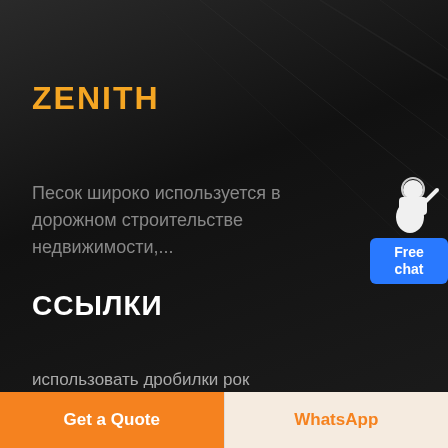ZENITH
Песок широко используется в дорожном строительстве недвижимости,...
[Figure (illustration): Customer support agent figure with Free chat button widget in top right corner]
ССЫЛКИ
использовать дробилки рок
ездить рок дробилки
Get a Quote
WhatsApp